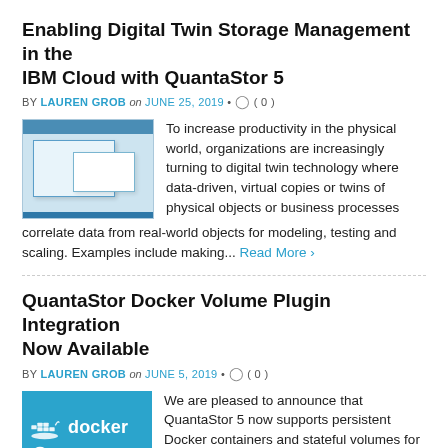Enabling Digital Twin Storage Management in the IBM Cloud with QuantaStor 5
BY LAUREN GROB on JUNE 25, 2019 • ( 0 )
[Figure (screenshot): Screenshot of QuantaStor management interface showing storage management panels]
To increase productivity in the physical world, organizations are increasingly turning to digital twin technology where data-driven, virtual copies or twins of physical objects or business processes correlate data from real-world objects for modeling, testing and scaling. Examples include making... Read More ›
QuantaStor Docker Volume Plugin Integration Now Available
BY LAUREN GROB on JUNE 5, 2019 • ( 0 )
[Figure (logo): Docker Certified logo — blue background with Docker whale icon and 'docker' text and 'CERTIFIED' badge]
We are pleased to announce that QuantaStor 5 now supports persistent Docker containers and stateful volumes for containerized applications with the new Docker certified QuantaStor Docker...